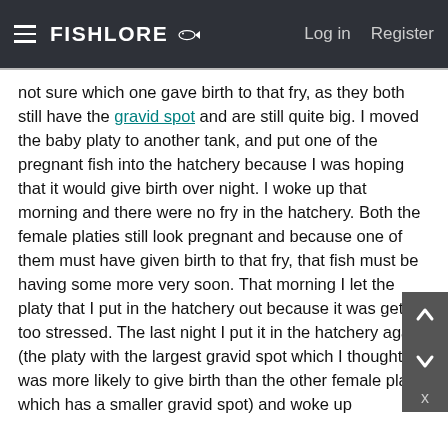FishLore | Log in | Register
not sure which one gave birth to that fry, as they both still have the gravid spot and are still quite big. I moved the baby platy to another tank, and put one of the pregnant fish into the hatchery because I was hoping that it would give birth over night. I woke up that morning and there were no fry in the hatchery. Both the female platies still look pregnant and because one of them must have given birth to that fry, that fish must be having some more very soon. That morning I let the platy that I put in the hatchery out because it was getting too stressed. The last night I put it in the hatchery again (the platy with the largest gravid spot which I thought was more likely to give birth than the other female platy which has a smaller gravid spot) and woke up